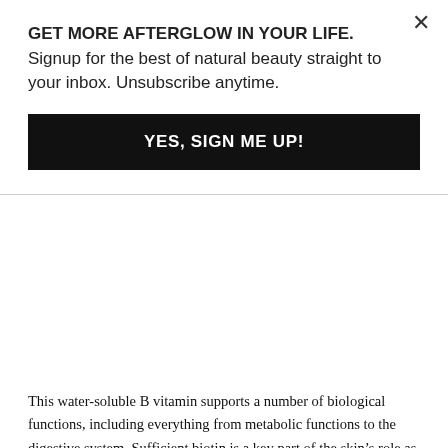GET MORE AFTERGLOW IN YOUR LIFE. Signup for the best of natural beauty straight to your inbox. Unsubscribe anytime.
YES, SIGN ME UP!
This water-soluble B vitamin supports a number of biological functions, including everything from metabolic functions to the digestive system. Sufficient biotin is a key part of the skin’s role as a protective barrier. Biotin deficiency, meanwhile, has been connected with dull, dry skin. Just how important is biotin? It’s earned the moniker of “vitamin H” for its impact on both hair growth and skin health. I love this Biotin – Hair, Skin & Nails supplement made with coconut oil found here on Amazon.com .
5. OMEGA-3 FATTY ACIDS
Primarily found in fish oil, Omega-3 fatty acids keep the aging process at bay by blocking the release of enzymes which